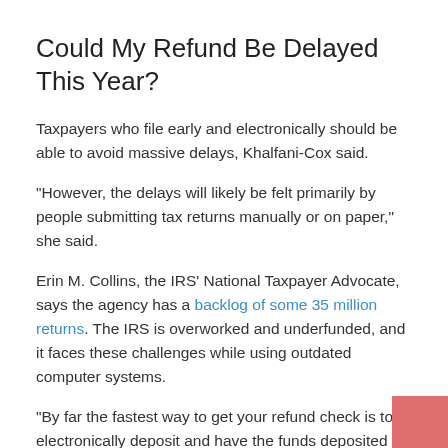Could My Refund Be Delayed This Year?
Taxpayers who file early and electronically should be able to avoid massive delays, Khalfani-Cox said.
“However, the delays will likely be felt primarily by people submitting tax returns manually or on paper,” she said.
Erin M. Collins, the IRS’ National Taxpayer Advocate, says the agency has a backlog of some 35 million returns. The IRS is overworked and underfunded, and it faces these challenges while using outdated computer systems.
“By far the fastest way to get your refund check is to electronically deposit and have the funds deposited directly into your bank account,” Khalfani-Cox said. “Most people are